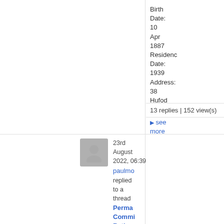Birth Date: 10 Apr 1887 Residence Date: 1939 Address: 38 Hufod Residence
▶ see more
13 replies | 152 view(s)
23rd August 2022, 06:39
paulmo replied to a thread
Perma Commi Retirem Help in Genera